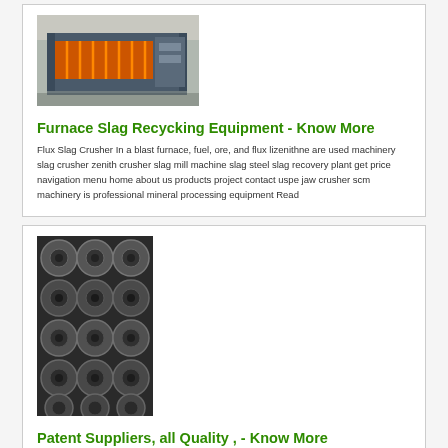[Figure (photo): Industrial furnace or slag recycling machine with orange/yellow grates inside a grey metal frame, in a factory setting]
Furnace Slag Recycking Equipment - Know More
Flux Slag Crusher In a blast furnace, fuel, ore, and flux lizenithne are used machinery slag crusher zenith crusher slag mill machine slag steel slag recovery plant get price navigation menu home about us products project contact uspe jaw crusher scm machinery is professional mineral processing equipment Read
[Figure (photo): Stacked metal wheels or pulley components arranged in rows, dark industrial setting]
Patent Suppliers, all Quality , - Know More